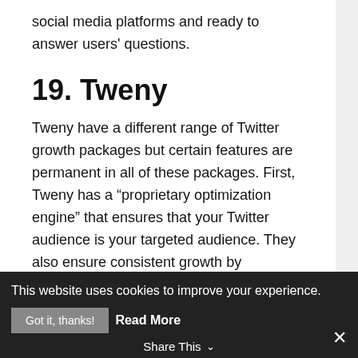social media platforms and ready to answer users' questions.
19. Tweny
Tweny have a different range of Twitter growth packages but certain features are permanent in all of these packages. First, Tweny has a “proprietary optimization engine” that ensures that your Twitter audience is your targeted audience. They also ensure consistent growth by monitoring the account and assigning social media marketing consultants to you.
To get potential clients started, Tweny offers a
This website uses cookies to improve your experience.
Got it, thanks!  Read More
Share This